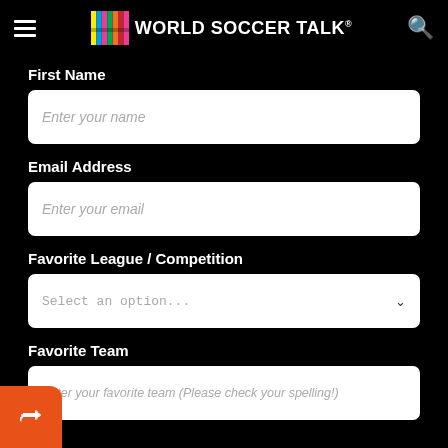World Soccer Talk
First Name
Enter your name
Email Address
Enter your email
Favorite League / Competition
Select an option...
Favorite Team
Enter your favorite team (Please check your spelling!)